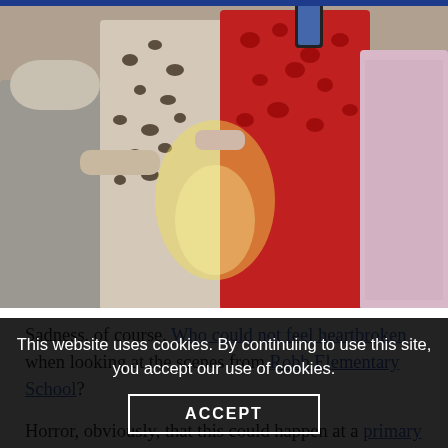[Figure (photo): A group of people hugging or comforting each other, outdoors. A person in a leopard-print top, someone in a red floral blouse, and a person in a light pink top are visible. The image has a warm yellow highlight in the center.]
Sadness, of course. Who could not feel heartbroken when looking at the scenes from Robb Elementary School?
Horror, obviously, that this could happen at a primary school in the middle of the day, the most vulnerable mown down in broad daylight, 90 miles west of San Antonio, with at least one of their teachers. Others are injured, who knows who badly.
This website uses cookies. By continuing to use this site, you accept our use of cookies.
ACCEPT